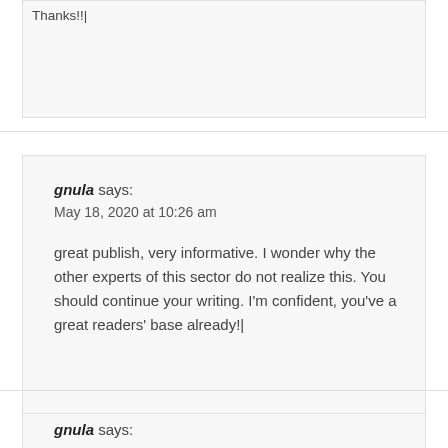Thanks!!|
gnula says:
May 18, 2020 at 10:26 am

great publish, very informative. I wonder why the other experts of this sector do not realize this. You should continue your writing. I'm confident, you've a great readers' base already!|
gnula says: